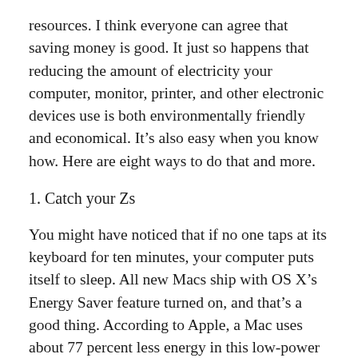resources. I think everyone can agree that saving money is good. It just so happens that reducing the amount of electricity your computer, monitor, printer, and other electronic devices use is both environmentally friendly and economical. It's also easy when you know how. Here are eight ways to do that and more.
1. Catch your Zs
You might have noticed that if no one taps at its keyboard for ten minutes, your computer puts itself to sleep. All new Macs ship with OS X's Energy Saver feature turned on, and that's a good thing. According to Apple, a Mac uses about 77 percent less energy in this low-power mode than when it's running at full power. You can save more by setting your Mac to go to sleep more quickly. Go to the Energy Saver